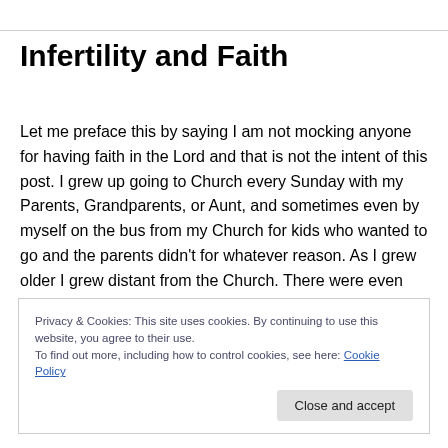Infertility and Faith
Let me preface this by saying I am not mocking anyone for having faith in the Lord and that is not the intent of this post. I grew up going to Church every Sunday with my Parents, Grandparents, or Aunt, and sometimes even by myself on the bus from my Church for kids who wanted to go and the parents didn't for whatever reason. As I grew older I grew distant from the Church. There were even
Privacy & Cookies: This site uses cookies. By continuing to use this website, you agree to their use.
To find out more, including how to control cookies, see here: Cookie Policy
Close and accept